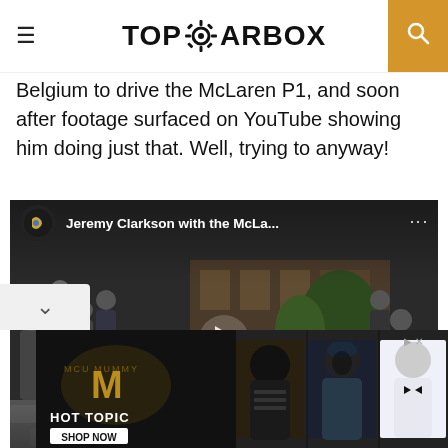TOPGEARBOX
Belgium to drive the McLaren P1, and soon after footage surfaced on YouTube showing him doing just that. Well, trying to anyway!
[Figure (screenshot): Embedded YouTube video thumbnail showing Jeremy Clarkson with the McLaren P1 supercar on a cobblestone street, with the video title 'Jeremy Clarkson with the McLa...' shown at the top of the player and a play button in the center.]
[Figure (photo): Advertisement banner for Hot Topic / The Mummy featuring dark movie poster imagery with text 'HOT TOPIC' and 'SHOP NOW' button.]